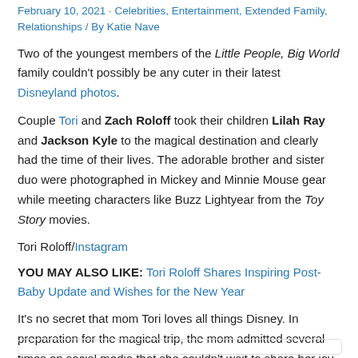February 10, 2021 · Celebrities, Entertainment, Extended Family, Relationships / By Katie Nave
Two of the youngest members of the Little People, Big World family couldn't possibly be any cuter in their latest Disneyland photos.
Couple Tori and Zach Roloff took their children Lilah Ray and Jackson Kyle to the magical destination and clearly had the time of their lives. The adorable brother and sister duo were photographed in Mickey and Minnie Mouse gear while meeting characters like Buzz Lightyear from the Toy Story movies.
Tori Roloff/Instagram
YOU MAY ALSO LIKE: Tori Roloff Shares Inspiring Post-Baby Update and Wishes for the New Year
It's no secret that mom Tori loves all things Disney. In preparation for the magical trip, the mom admitted several times on social media that she couldn't wait to share her joy with her two children.